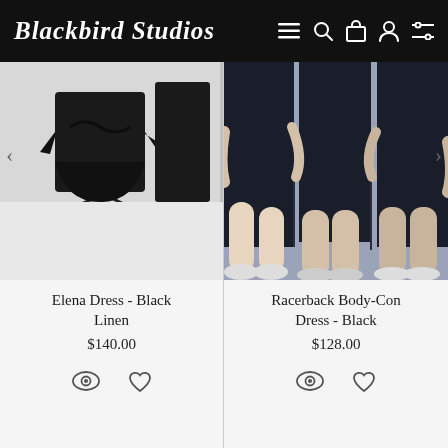Blackbird Studios — navigation bar with logo, menu, search, cart, account, filter icons
[Figure (photo): Product photo of Elena Dress - Black Linen on a mannequin, black dress with tie belt]
Elena Dress - Black Linen
$140.00
[Figure (photo): Product photo of Racerback Body-Con Dress - Black, worn by models showing side slit detail]
Racerback Body-Con Dress - Black
$128.00